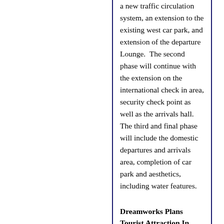a new traffic circulation system, an extension to the existing west car park, and extension of the departure Lounge.  The second phase will continue with the extension on the international check in area, security check point as well as the arrivals hall. The third and final phase will include the domestic departures and arrivals area, completion of car park and aesthetics, including water features.
Dreamworks Plans Tourist Attraction In Shanghai
Dreamworks Animation is planning to build a $3.2 billion "entertainment